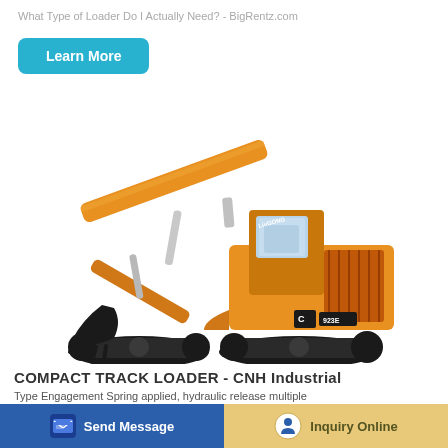What Type of Loader Do I Actually Need? - BigRentz.com
Learn More
[Figure (photo): LiuGong 923E tracked hydraulic excavator with yellow body, extended arm, and black bucket, viewed from the side on a white background.]
COMPACT TRACK LOADER - CNH Industrial
Type Engagement Spring applied, hydraulic release multiple